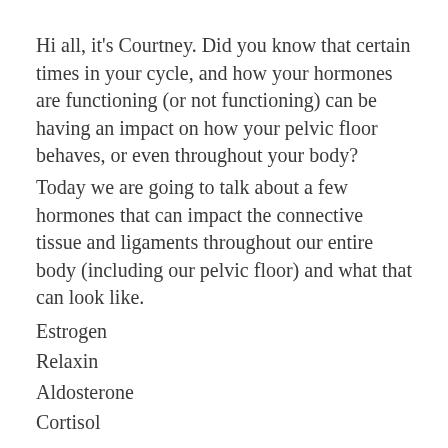Hi all, it's Courtney. Did you know that certain times in your cycle, and how your hormones are functioning (or not functioning) can be having an impact on how your pelvic floor behaves, or even throughout your body?
Today we are going to talk about a few hormones that can impact the connective tissue and ligaments throughout our entire body (including our pelvic floor) and what that can look like.
Estrogen
Relaxin
Aldosterone
Cortisol